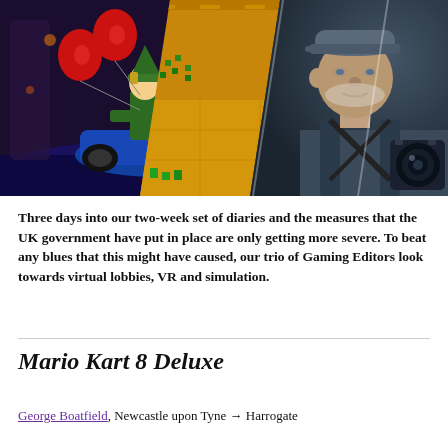[Figure (photo): Three-panel composite image: left panel shows Link character from Mario Kart on a kart with red balloons, middle panel shows Stardew Valley pixel art character on golden background, right panel shows an older man wearing a cap with camera equipment.]
Three days into our two-week set of diaries and the measures that the UK government have put in place are only getting more severe. To beat any blues that this might have caused, our trio of Gaming Editors look towards virtual lobbies, VR and simulation.
Mario Kart 8 Deluxe
George Boatfield, Newcastle upon Tyne → Harrogate